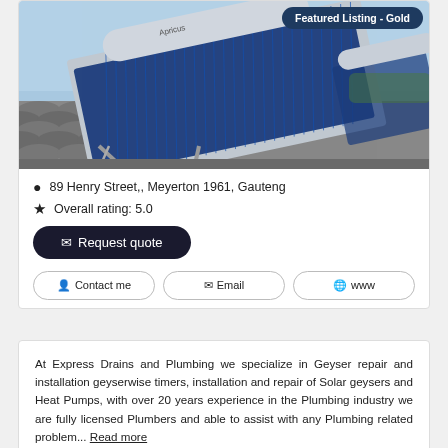[Figure (photo): Solar geyser/water heater panels installed on a rooftop, with blue vacuum tube collectors and a cylindrical tank, against a clear sky background. Brand 'Apricus' visible on tank.]
Featured Listing - Gold
89 Henry Street,, Meyerton 1961, Gauteng
Overall rating: 5.0
✉ Request quote
👤 Contact me
✉ Email
🌐 www
At Express Drains and Plumbing we specialize in Geyser repair and installation geyserwise timers, installation and repair of Solar geysers and Heat Pumps, with over 20 years experience in the Plumbing industry we are fully licensed Plumbers and able to assist with any Plumbing related problem... Read more